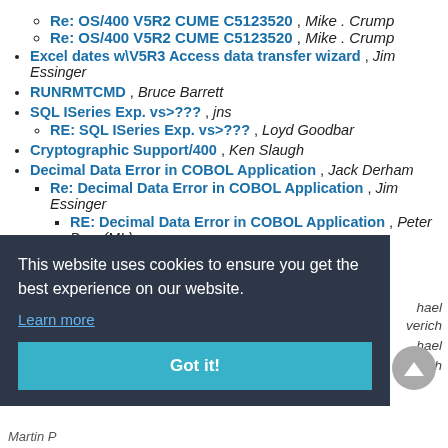Re: OS/400 V5R2 CUME C5123520 , Mike . Crump
Re: OS/400 V5R2 CUME C5123520 , Mike . Crump
Excel dates w\V5R3 Access data transfer wizard , Jim Essinger
RUNRMTCMD , Bruce Barrett
SQL ISeries Exp. vs>??? , jns
RE: SQL ISeries Exp. vs>??? , Loyd Goodbar
Cryptographic Support/400 , Ken Slaugh
Decimal Data Error in COBOL Application , Jack Derham
Re: Decimal Data Error in COBOL Application , Jim Essinger
RE: Decimal Data Error in COBOL Application , Peter Dow (ML)
RE: Pocket PC Development & AS/400 , David Delisi
This website uses cookies to ensure you get the best experience on our website.
Learn more
Got it!
Martin P